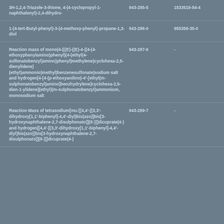| Name | EC Number | CAS Number |
| --- | --- | --- |
| 3H-1,2,4-Triazole-3-thione, 4-(4-cyclopropyl-1-naphthalenyl)-2,4-dihydro- | 943-285-5 | 1533519-84-4 |
| 1-(4-tert-Butyl-phenyl)-3-(4-methoxy-phenyl)-propane-1,3-diol | 943-286-0 | 955359-35-0 |
| Reaction mass of mono(4-(((E)-((E)-4-((4-(4-ethoxyphenylamino)phenyl)(4-(ethyl(4-sulfonatobenzyl)amino)phenyl)methylene)cyclohexa-2,5-dienylidene)(ethyl)ammonio)methyl)benzenesulfonate)sodium salt and hydrogen[4-[4-(p-ethoxyanilino)-4'-[ethyl(m-sulphonatobenzyl)amino]benzhydrylene]cyclohexa-2,5-dien-1-ylidene](ethyl)(m-sulphonatobenzyl)ammonium, monosodium salt | 943-287-6 | - |
| Reaction Mass of tetrasodium[mu-[[4,4'-[(3,3'-dihydroxy[1,1'-biphenyl]-4,4'-diyl)bis(azo)]bis[3-hydroxynaphthalene-2,7-disulphonato]](8-)]]dicuprate(4-) and hydrogen[[4,4'-[(3,3'-dihydroxy[1,1'-biphenyl]-4,4'-diyl)bis(azo)]bis[3-hydroxynaphthalene-2,7-disulphonato]](8-)]]dicuprate(4-) | 943-289-7 | - |